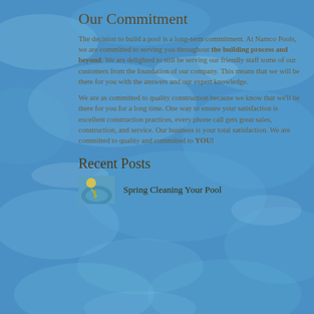Our Commitment
The decision to build a pool is a long-term commitment. At Namco Pools, we are committed to serving you throughout the building process and beyond. We are delighted to still be serving our friendly staff some of our customers from the foundation of our company. This means that we will be there for you with the answers and our expert knowledge.
We are as committed to quality construction because we know that we'll be there for you for a long time. One way to ensure your satisfaction is excellent construction practices, every phone call gets great sales, construction, and service. Our business is your total satisfaction. We are committed to quality and committed to YOU!
Recent Posts
Spring Cleaning Your Pool